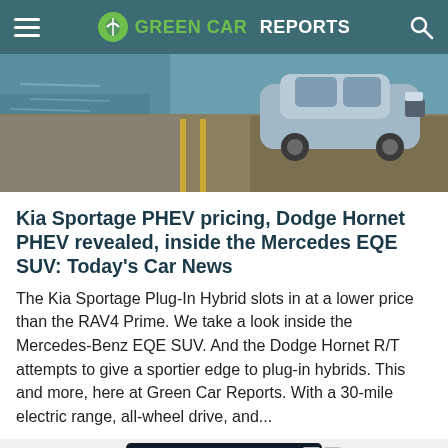GREEN CAR REPORTS
[Figure (photo): Aerial/overhead view of a blue/silver car on what appears to be a bridge or dock surface, with water visible]
Kia Sportage PHEV pricing, Dodge Hornet PHEV revealed, inside the Mercedes EQE SUV: Today's Car News
The Kia Sportage Plug-In Hybrid slots in at a lower price than the RAV4 Prime. We take a look inside the Mercedes-Benz EQE SUV. And the Dodge Hornet R/T attempts to give a sportier edge to plug-in hybrids. This and more, here at Green Car Reports. With a 30-mile electric range, all-wheel drive, and...
[Figure (advertisement): Ford Summer Supercharged advertisement banner with Learn More button]